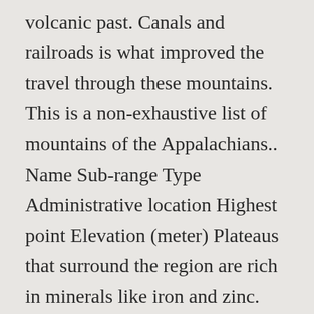volcanic past. Canals and railroads is what improved the travel through these mountains. This is a non-exhaustive list of mountains of the Appalachians.. Name Sub-range Type Administrative location Highest point Elevation (meter) Plateaus that surround the region are rich in minerals like iron and zinc. Snowfall event characteristics from a high-elevation site in the Southern Appalachian Mountains, USA Daniel T. Martin 1, L. Baker Perry1,*, Douglas K. Miller2, Peter T. Soulé 1Department of Geography and Planning, Appalachian State University, Rankin Science ... Erosion has even altered the landscape of the Southern Appalachians. 7 of 21 The birth of these mountains began about 480 million years ago